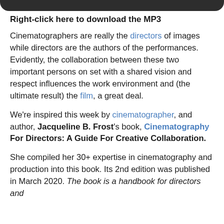Right-click here to download the MP3
Cinematographers are really the directors of images while directors are the authors of the performances. Evidently, the collaboration between these two important persons on set with a shared vision and respect influences the work environment and (the ultimate result) the film, a great deal.
We're inspired this week by cinematographer, and author, Jacqueline B. Frost's book, Cinematography For Directors: A Guide For Creative Collaboration.
She compiled her 30+ expertise in cinematography and production into this book. Its 2nd edition was published in March 2020. The book is a handbook for directors and